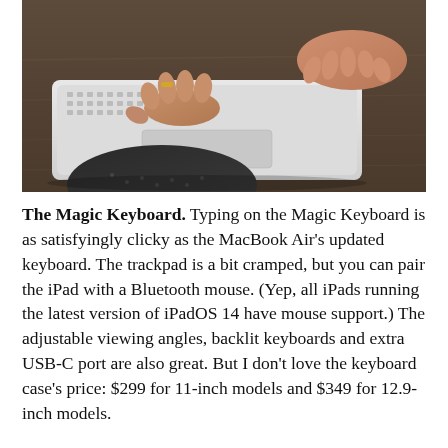[Figure (photo): Close-up photograph of two hands typing on a white Apple Magic Keyboard with an integrated trackpad, resting on a dark wood surface. The person appears to be wearing a dark patterned shirt and a gold ring on one finger.]
The Magic Keyboard. Typing on the Magic Keyboard is as satisfyingly clicky as the MacBook Air’s updated keyboard. The trackpad is a bit cramped, but you can pair the iPad with a Bluetooth mouse. (Yep, all iPads running the latest version of iPadOS 14 have mouse support.) The adjustable viewing angles, backlit keyboards and extra USB-C port are also great. But I don’t love the keyboard case’s price: $299 for 11-inch models and $349 for 12.9-inch models.